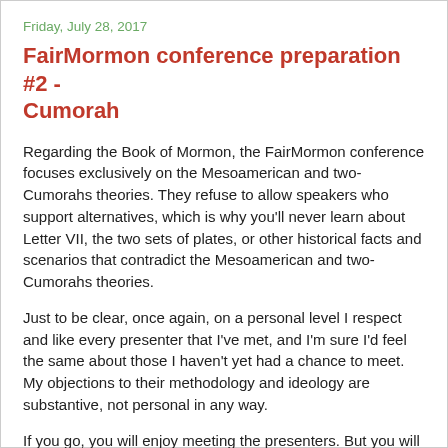Friday, July 28, 2017
FairMormon conference preparation #2 - Cumorah
Regarding the Book of Mormon, the FairMormon conference focuses exclusively on the Mesoamerican and two-Cumorahs theories. They refuse to allow speakers who support alternatives, which is why you'll never learn about Letter VII, the two sets of plates, or other historical facts and scenarios that contradict the Mesoamerican and two-Cumorahs theories.
Just to be clear, once again, on a personal level I respect and like every presenter that I've met, and I'm sure I'd feel the same about those I haven't yet had a chance to meet. My objections to their methodology and ideology are substantive, not personal in any way.
If you go, you will enjoy meeting the presenters. But you will also be shocked and dismayed at their approach to the Book of Mormon. Every presenter I know will teach that Joseph